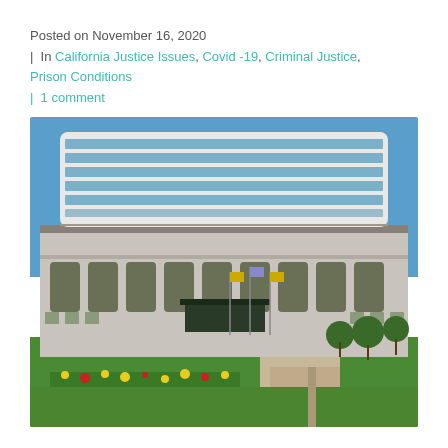Posted on November 16, 2020
|  In California Justice Issues, Covid -19, Criminal Justice, Prison Conditions
|  1 comment
[Figure (photo): Exterior photograph of a large white neoclassical government building (California Supreme Court building in San Francisco) with a modern curved glass addition on top, flags in front, and a green lawn with yellow flowers in the foreground.]